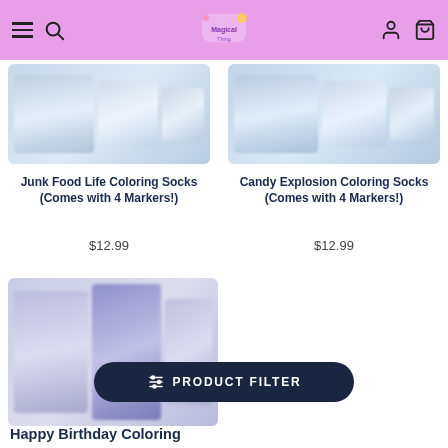Magical Thing store header with hamburger menu, search, logo, user and cart icons
[Figure (photo): Junk Food Life Coloring Socks product image - blurred sock packaging with blue/white colors]
Junk Food Life Coloring Socks (Comes with 4 Markers!)
$12.99
[Figure (photo): Candy Explosion Coloring Socks product image - blurred sock packaging with blue/white colors]
Candy Explosion Coloring Socks (Comes with 4 Markers!)
$12.99
[Figure (photo): Happy Birthday Coloring Socks product image - blurred sock packaging with purple/white colors]
Happy Birthday Coloring
PRODUCT FILTER